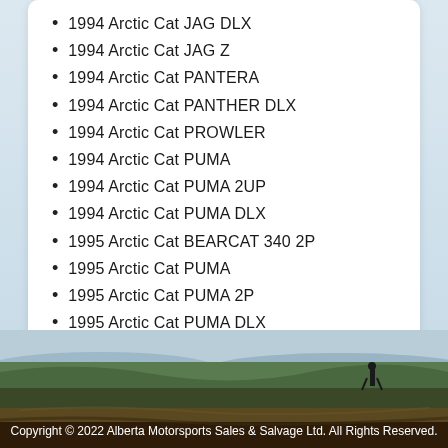1994 Arctic Cat JAG DLX
1994 Arctic Cat JAG Z
1994 Arctic Cat PANTERA
1994 Arctic Cat PANTHER DLX
1994 Arctic Cat PROWLER
1994 Arctic Cat PUMA
1994 Arctic Cat PUMA 2UP
1994 Arctic Cat PUMA DLX
1995 Arctic Cat BEARCAT 340 2P
1995 Arctic Cat PUMA
1995 Arctic Cat PUMA 2P
1995 Arctic Cat PUMA DLX
[Figure (photo): Landscape photo of a person standing on a hill with a tundra/moorland scene and dramatic sky in the background]
Copyright © 2022 Alberta Motorsports Sales & Salvage Ltd. All Rights Reserved.